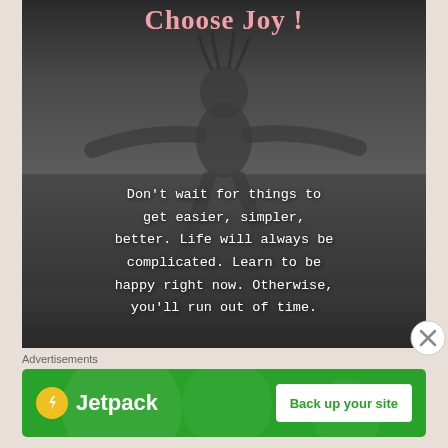[Figure (photo): Black and white photo of a young girl with arms spread wide, mouth open joyfully, appears to be playing in rain or sprinkler. Text overlay at top reads 'Choose Joy!' in pink serif font. Body of image has white monospace quote text.]
Choose Joy!
Don't wait for things to get easier, simpler, better. Life will always be complicated. Learn to be happy right now. Otherwise, you'll run out of time.
Advertisements
[Figure (logo): Jetpack advertisement banner. Green background with Jetpack logo (lightning bolt in yellow circle) and text 'Jetpack', plus a white button reading 'Back up your site'.]